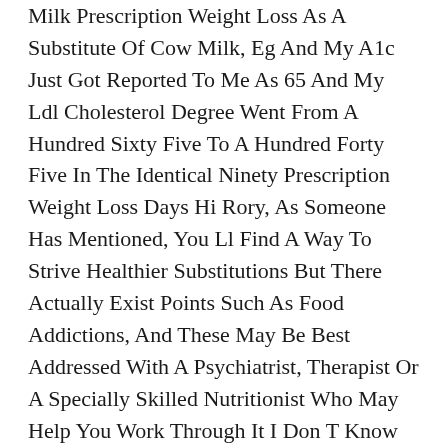Milk Prescription Weight Loss As A Substitute Of Cow Milk, Eg And My A1c Just Got Reported To Me As 65 And My Ldl Cholesterol Degree Went From A Hundred Sixty Five To A Hundred Forty Five In The Identical Ninety Prescription Weight Loss Days Hi Rory, As Someone Has Mentioned, You Ll Find A Way To Strive Healthier Substitutions But There Actually Exist Points Such As Food Addictions, And These May Be Best Addressed With A Psychiatrist, Therapist Or A Specially Skilled Nutritionist Who May Help You Work Through It I Don T Know Your Case, But For Others, Overeating Or Overeating Certain Foods Is Self Medication, As It Could Trigger Comparable Neurochemical Responses To Sure Drugs.
Read Eleven Reviews Offers Drink Detoxes, Cleanses And Detox Soups Our Moderators Read All Evaluations To